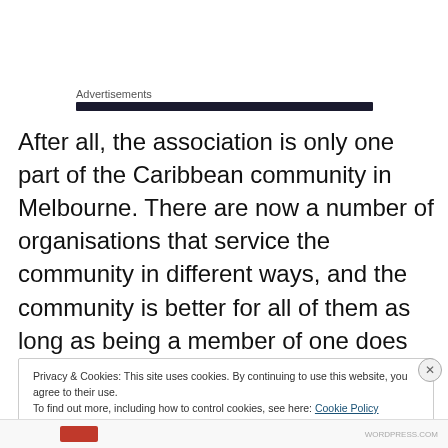Advertisements
After all, the association is only one part of the Caribbean community in Melbourne. There are now a number of organisations that service the community in different ways, and the community is better for all of them as long as being a member of one does not preclude you from being a member of any others.
Privacy & Cookies: This site uses cookies. By continuing to use this website, you agree to their use.
To find out more, including how to control cookies, see here: Cookie Policy
Close and accept